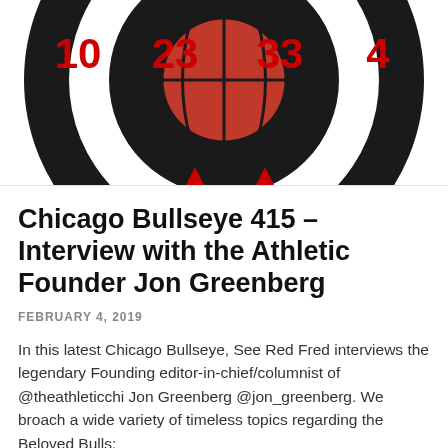[Figure (illustration): Chicago Bulls themed bullseye/target graphic with a basketball in the center and jersey numbers 10, 23, 33, and 4 in red on black and white concentric circles. Partial view showing top portion of the design.]
Chicago Bullseye 415 – Interview with the Athletic Founder Jon Greenberg
FEBRUARY 4, 2019
In this latest Chicago Bullseye, See Red Fred interviews the legendary Founding editor-in-chief/columnist of @theathleticchi Jon Greenberg @jon_greenberg. We broach a wide variety of timeless topics regarding the Beloved Bulls: